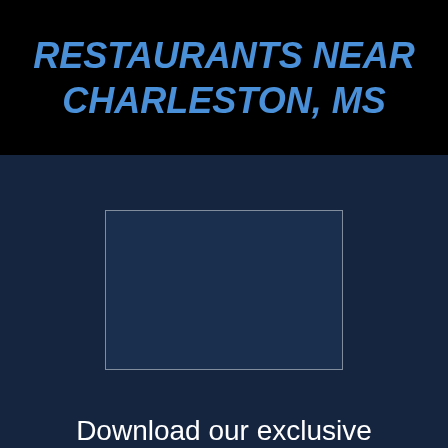RESTAURANTS NEAR CHARLESTON, MS
[Figure (other): Placeholder image box with border on dark navy background]
Download our exclusive